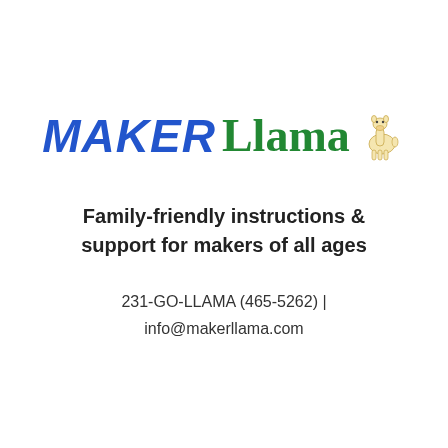[Figure (logo): Maker Llama logo: 'MAKER' in bold blue italic uppercase letters, 'Llama' in green cursive font, with a small cartoon llama illustration to the right]
Family-friendly instructions & support for makers of all ages
231-GO-LLAMA (465-5262) | info@makerllama.com